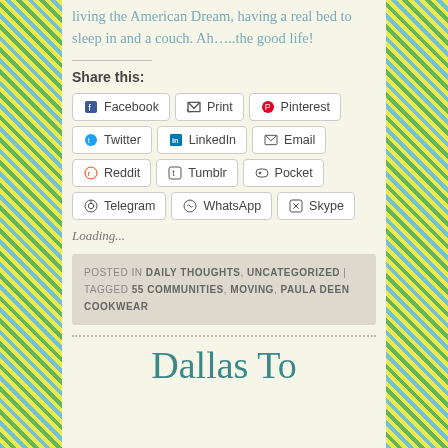living the American Dream, having a real bed to sleep in and a couch. Ah…..the good life!
Share this:
Facebook | Print | Pinterest | Twitter | LinkedIn | Email | Reddit | Tumblr | Pocket | Telegram | WhatsApp | Skype
Loading...
POSTED IN DAILY THOUGHTS, UNCATEGORIZED | TAGGED 55 COMMUNITIES, MOVING, PAULA DEEN COOKWEAR
Dallas To